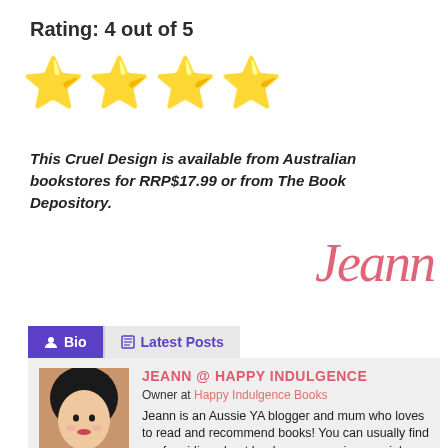Rating: 4 out of 5
[Figure (other): Four yellow star emoji icons representing a 4-out-of-5 star rating]
This Cruel Design is available from Australian bookstores for RRP$17.99 or from The Book Depository.
Jeann
[Figure (other): Bio/Latest Posts tab UI. Bio tab selected (purple background), Latest Posts tab in gray. Below: author card with photo of Jeann, social media icons (Twitter, Google+, Instagram, Tumblr, YouTube), name JEANN @ HAPPY INDULGENCE, Owner at Happy Indulgence Books, and bio text.]